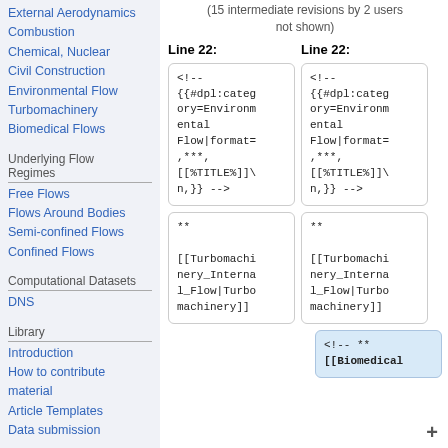External Aerodynamics
Combustion
Chemical, Nuclear
Civil Construction
Environmental Flow
Turbomachinery
Biomedical Flows
Underlying Flow Regimes
Free Flows
Flows Around Bodies
Semi-confined Flows
Confined Flows
Computational Datasets
DNS
Library
Introduction
How to contribute material
Article Templates
Data submission
(15 intermediate revisions by 2 users not shown)
Line 22:
Line 22:
<!--
{{#dpl:categ
ory=Environm
ental
Flow|format=
,***,
[[%TITLE%]]\
n,}} -->
<!--
{{#dpl:categ
ory=Environm
ental
Flow|format=
,***,
[[%TITLE%]]\
n,}} -->
**
[[Turbomachi
nery_Interna
l_Flow|Turbo
machinery]]
**
[[Turbomachi
nery_Interna
l_Flow|Turbo
machinery]]
<!-- **
[[Biomedical